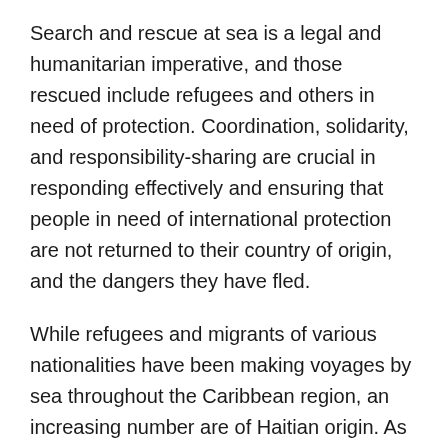Search and rescue at sea is a legal and humanitarian imperative, and those rescued include refugees and others in need of protection. Coordination, solidarity, and responsibility-sharing are crucial in responding effectively and ensuring that people in need of international protection are not returned to their country of origin, and the dangers they have fled.
While refugees and migrants of various nationalities have been making voyages by sea throughout the Caribbean region, an increasing number are of Haitian origin. As of May, the U.S. Coast Guard reported it has interdicted almost 3,900 Haitian nationals in fiscal year 2022 – more than double the number in fiscal year 2021 (1,527 Haitians). In addition, at least 175 Haitians have been reported as missing or deceased to the U.S. Coast Guard.